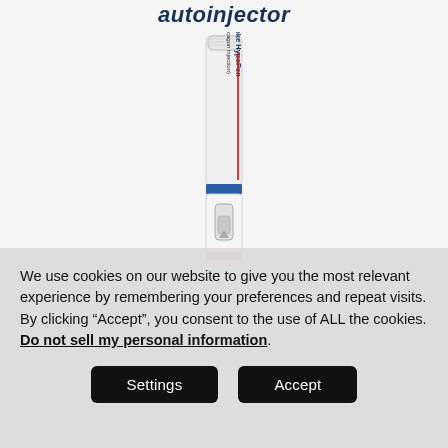autoinjector
[Figure (photo): Gvoke HypoPen (glucagon injection) autoinjector pen device, shown vertically with white body, blue band at lower portion, and a window showing the syringe plunger. Red stripe at very bottom.]
We use cookies on our website to give you the most relevant experience by remembering your preferences and repeat visits. By clicking “Accept”, you consent to the use of ALL the cookies. Do not sell my personal information.
Settings
Accept